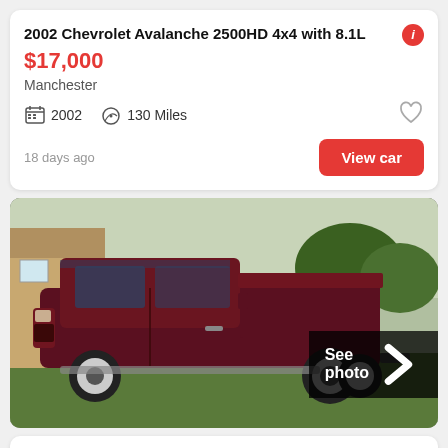2002 Chevrolet Avalanche 2500HD 4x4 with 8.1L
$17,000
Manchester
2002  130 Miles
18 days ago
View car
[Figure (photo): Dark red/maroon large pickup truck (Ford F350 style dually) parked on grass in front of a house, side profile view. A 'See photo >' overlay button is visible in the bottom right.]
2005 Ford F350
$18,000